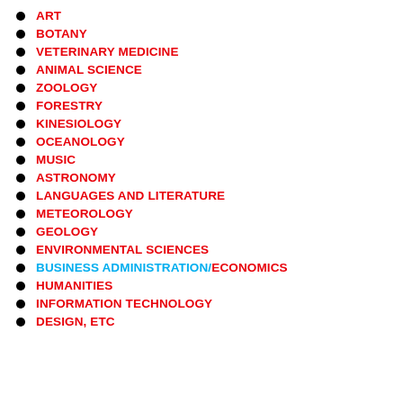ART
BOTANY
VETERINARY MEDICINE
ANIMAL SCIENCE
ZOOLOGY
FORESTRY
KINESIOLOGY
OCEANOLOGY
MUSIC
ASTRONOMY
LANGUAGES AND LITERATURE
METEOROLOGY
GEOLOGY
ENVIRONMENTAL SCIENCES
BUSINESS ADMINISTRATION/ECONOMICS
HUMANITIES
INFORMATION TECHNOLOGY
DESIGN, ETC